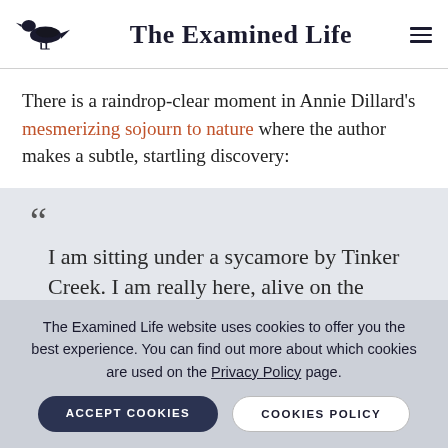The Examined Life
There is a raindrop-clear moment in Annie Dillard's mesmerizing sojourn to nature where the author makes a subtle, startling discovery:
" I am sitting under a sycamore by Tinker Creek. I am really here, alive on the
The Examined Life website uses cookies to offer you the best experience. You can find out more about which cookies are used on the Privacy Policy page.